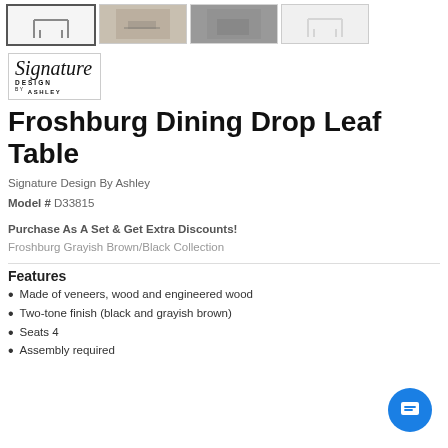[Figure (photo): Four thumbnail images of the Froshburg Dining Drop Leaf Table from different angles; first thumbnail is selected/highlighted]
[Figure (logo): Signature Design by Ashley logo in script/italic font]
Froshburg Dining Drop Leaf Table
Signature Design By Ashley
Model # D33815
Purchase As A Set & Get Extra Discounts!
Froshburg Grayish Brown/Black Collection
Features
Made of veneers, wood and engineered wood
Two-tone finish (black and grayish brown)
Seats 4
Assembly required